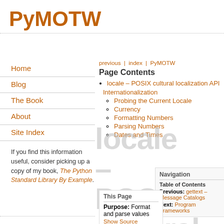PyMOTW
Home
Blog
The Book
About
Site Index
If you find this information useful, consider picking up a copy of my book, The Python Standard Library By Example.
Page Contents
locale – POSIX cultural localization API
Internationalization
Probing the Current Locale
Currency
Formatting Numbers
Parsing Numbers
Dates and Times
previous | index | PyMOTW
Navigation
Table of Contents
Previous: gettext – Message Catalogs
Next: Program Frameworks
This Page
Purpose: Format and parse values
Show Source